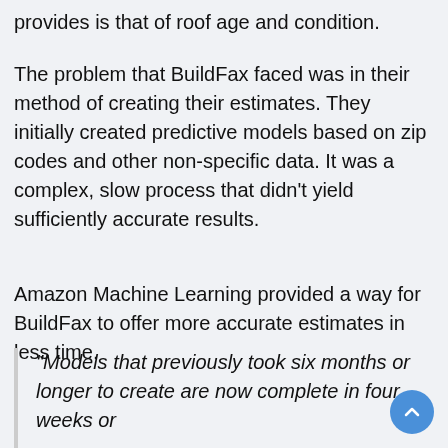provides is that of roof age and condition.
The problem that BuildFax faced was in their method of creating their estimates. They initially created predictive models based on zip codes and other non-specific data. It was a complex, slow process that didn't yield sufficiently accurate results.
Amazon Machine Learning provided a way for BuildFax to offer more accurate estimates in less time.
“Models that previously took six months or longer to create are now complete in four weeks or